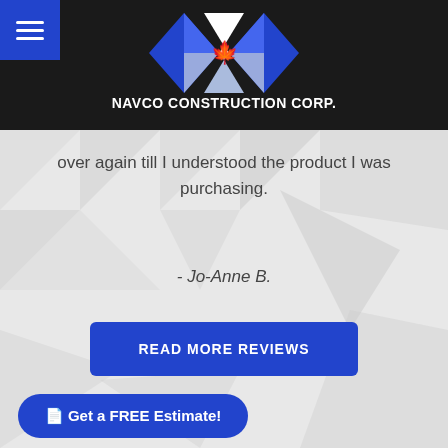[Figure (logo): Navco Construction Corp. logo — two overlapping diamond shapes made of blue and white triangles with a red Canadian maple leaf in the center]
NAVCO CONSTRUCTION CORP.
over again till I understood the product I was purchasing.
- Jo-Anne B.
READ MORE REVIEWS
Get a FREE Estimate!